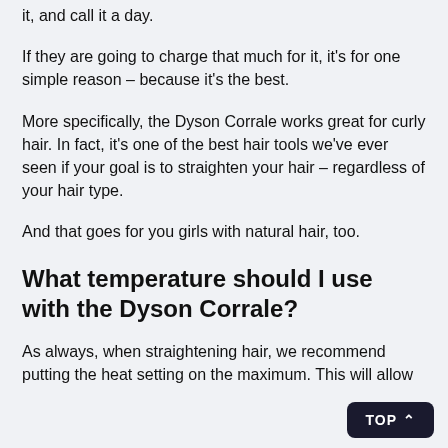it, and call it a day.
If they are going to charge that much for it, it's for one simple reason – because it's the best.
More specifically, the Dyson Corrale works great for curly hair. In fact, it's one of the best hair tools we've ever seen if your goal is to straighten your hair – regardless of your hair type.
And that goes for you girls with natural hair, too.
What temperature should I use with the Dyson Corrale?
As always, when straightening hair, we recommend putting the heat setting on the maximum. This will allow